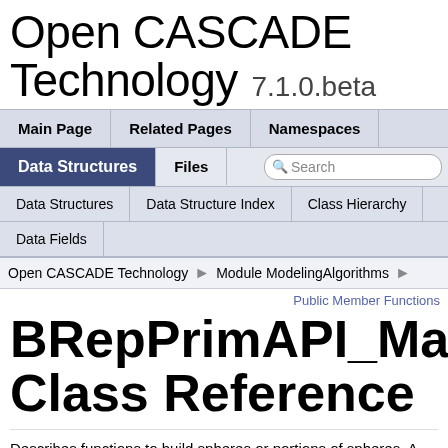Open CASCADE Technology 7.1.0.beta
Main Page | Related Pages | Namespaces | Data Structures | Files | Search
Data Structures | Data Structure Index | Class Hierarchy
Data Fields
Open CASCADE Technology > Module ModelingAlgorithms
Public Member Functions
BRepPrimAPI_MakeSphere Class Reference
Describes functions to build spheres or portions of spheres. A MakeSphere object provides a framework for: More...